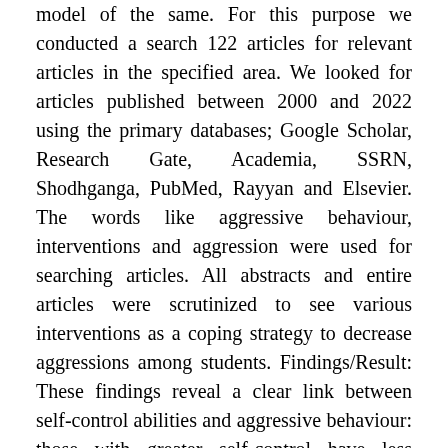model of the same. For this purpose we conducted a search 122 articles for relevant articles in the specified area. We looked for articles published between 2000 and 2022 using the primary databases; Google Scholar, Research Gate, Academia, SSRN, Shodhganga, PubMed, Rayyan and Elsevier. The words like aggressive behaviour, interventions and aggression were used for searching articles. All abstracts and entire articles were scrutinized to see various interventions as a coping strategy to decrease aggressions among students. Findings/Result: These findings reveal a clear link between self-control abilities and aggressive behaviour: those with greater self-control have less aggression, while people with lower self-control have more aggression. This relationship shows to hold true across a range of ages i.e. from childhood onwards. Based on these review